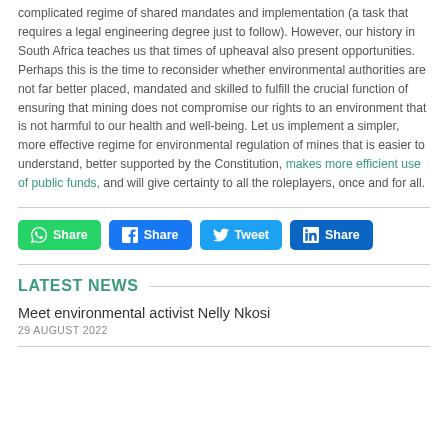complicated regime of shared mandates and implementation (a task that requires a legal engineering degree just to follow). However, our history in South Africa teaches us that times of upheaval also present opportunities. Perhaps this is the time to reconsider whether environmental authorities are not far better placed, mandated and skilled to fulfill the crucial function of ensuring that mining does not compromise our rights to an environment that is not harmful to our health and well-being. Let us implement a simpler, more effective regime for environmental regulation of mines that is easier to understand, better supported by the Constitution, makes more efficient use of public funds, and will give certainty to all the roleplayers, once and for all.
[Figure (other): Social sharing buttons: WhatsApp Share, Facebook Share, Twitter Tweet, LinkedIn Share]
LATEST NEWS
Meet environmental activist Nelly Nkosi
29 AUGUST 2022